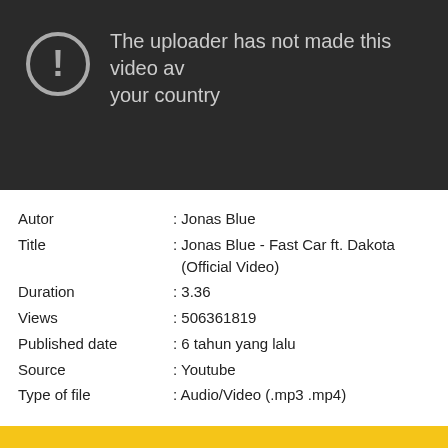[Figure (screenshot): Dark YouTube video placeholder with warning icon and text: 'The uploader has not made this video available in your country']
Autor : Jonas Blue
Title : Jonas Blue - Fast Car ft. Dakota (Official Video)
Duration : 3.36
Views : 506361819
Published date : 6 tahun yang lalu
Source : Youtube
Type of file : Audio/Video (.mp3 .mp4)
Description of video: Music video by Jonas Blue performing Fast Car. (C) 2015 Jonas Blue Music, under exclusive license to Virgin EMI Records, ...